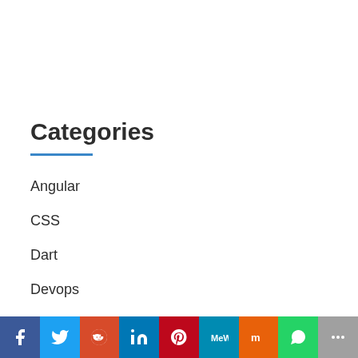Categories
Angular
CSS
Dart
Devops
Flutter
[Figure (infographic): Social sharing bar with icons for Facebook, Twitter, Reddit, LinkedIn, Pinterest, MeWe, Mix, WhatsApp, and More]